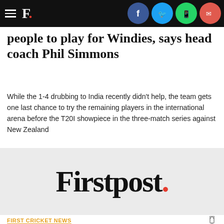Firstpost navigation bar with hamburger menu and social share icons (Facebook, Twitter, WhatsApp, Email)
people to play for Windies, says head coach Phil Simmons
While the 1-4 drubbing to India recently didn't help, the team gets one last chance to try the remaining players in the international arena before the T20I showpiece in the three-match series against New Zealand
[Figure (logo): Firstpost logo in large serif font with a red period at end]
FIRST CRICKET NEWS
India vs West Indies 4th T20I HIGHLIGHTS: India win by 59 runs, take 3-1 lead